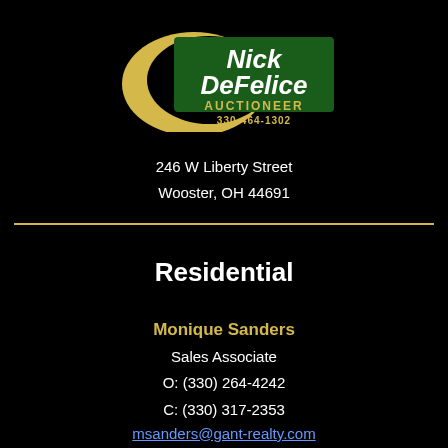[Figure (logo): Nick DeFelice Auctioneer logo with crescent moon shape, green and gold text, and phone number 330-464-1302]
246 W Liberty Street
Wooster, OH 44691
Residential
Monique Sanders
Sales Associate
O: (330) 264-4242
C: (330) 317-2353
msanders@gant-realty.com